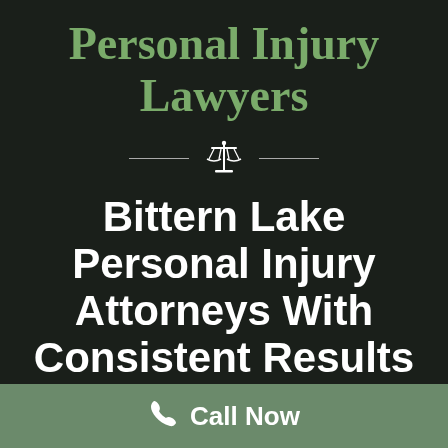Personal Injury Lawyers
[Figure (illustration): Scales of justice icon with horizontal decorative lines on either side, white color]
Bittern Lake Personal Injury Attorneys With Consistent Results
Call Now